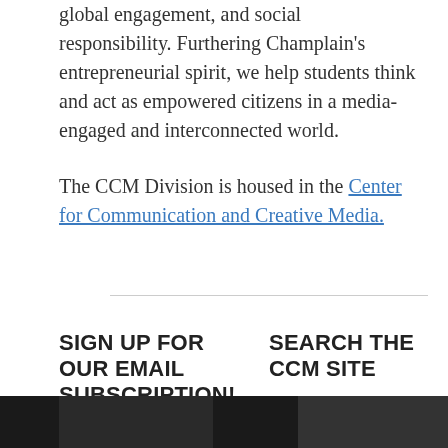global engagement, and social responsibility. Furthering Champlain's entrepreneurial spirit, we help students think and act as empowered citizens in a media-engaged and interconnected world.
The CCM Division is housed in the Center for Communication and Creative Media.
SIGN UP FOR OUR EMAIL SUBSCRIPTION!
SEARCH THE CCM SITE
[Figure (other): Two dark thumbnail images at the bottom of the page]